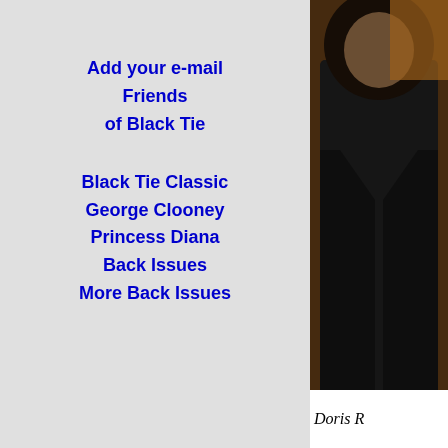Add your e-mail Friends of Black Tie
Black Tie Classic
George Clooney
Princess Diana
Back Issues
More Back Issues
[Figure (photo): Partial photo of a person wearing a dark leather jacket, cropped on the right side of the page]
Doris R